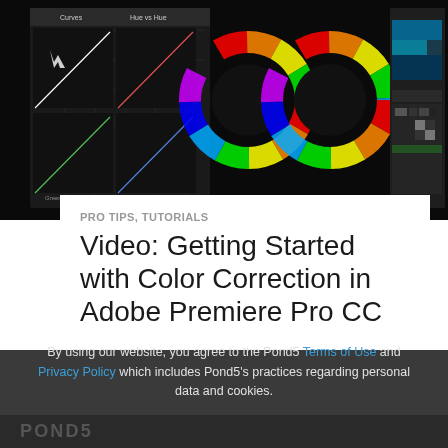[Figure (screenshot): Screenshot of video editing software showing color correction tools: curves panel on the left, three color wheels (Lumetri color) in the center, and timeline/panels on the right, all on dark background]
PRO TIPS, TUTORIALS
Video: Getting Started with Color Correction in Adobe Premiere Pro CC
By using our website, you agree to the Pond5 Terms of Use and Privacy Policy which includes Pond5's practices regarding personal data and cookies.
I AGREE
POND5